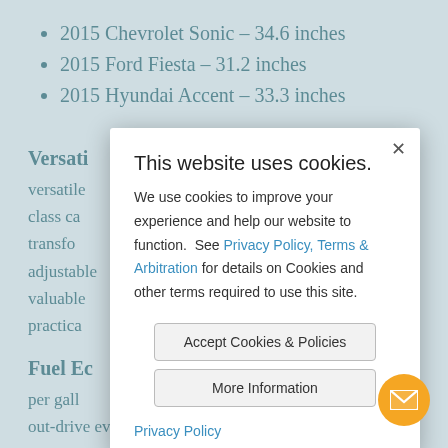2015 Chevrolet Sonic - 34.6 inches
2015 Ford Fiesta - 31.2 inches
2015 Hyundai Accent - 33.3 inches
Versati...
versatile... class ca... to transfo... adjustable... ep valuable... nly practica...
Fuel Ec...
per gall... out-drive even the toughest competitors. While they
[Figure (screenshot): Cookie consent modal dialog overlay. Title: 'This website uses cookies.' Body text: 'We use cookies to improve your experience and help our website to function. See Privacy Policy, Terms & Arbitration for details on Cookies and other terms required to use this site.' Two buttons: 'Accept Cookies & Policies' and 'More Information'. Footer link: 'Privacy Policy'. Close button (x) in top-right corner. Orange circular email/chat button in bottom-right corner.]